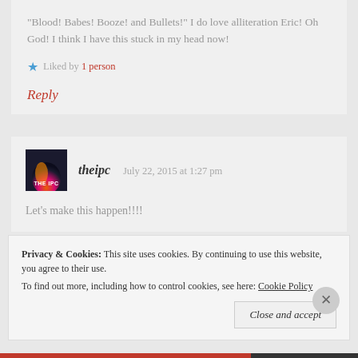"Blood! Babes! Booze! and Bullets!" I do love alliteration Eric! Oh God! I think I have this stuck in my head now!
Liked by 1 person
Reply
theipc   July 22, 2015 at 1:27 pm
Let's make this happen!!!!
Privacy & Cookies:  This site uses cookies. By continuing to use this website, you agree to their use.
To find out more, including how to control cookies, see here: Cookie Policy
Close and accept